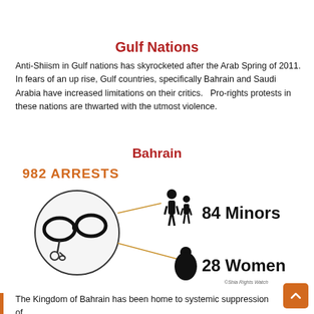Gulf Nations
Anti-Shiism in Gulf nations has skyrocketed after the Arab Spring of 2011. In fears of an up rise, Gulf countries, specifically Bahrain and Saudi Arabia have increased limitations on their critics.   Pro-rights protests in these nations are thwarted with the utmost violence.
Bahrain
[Figure (infographic): Infographic showing 982 arrests in Bahrain: handcuffs image in a circle with connector lines to 84 Minors (with adult and child figure icons) and 28 Women (with woman in hijab icon). Copyright: ©Shia Rights Watch]
The Kingdom of Bahrain has been home to systemic suppression of